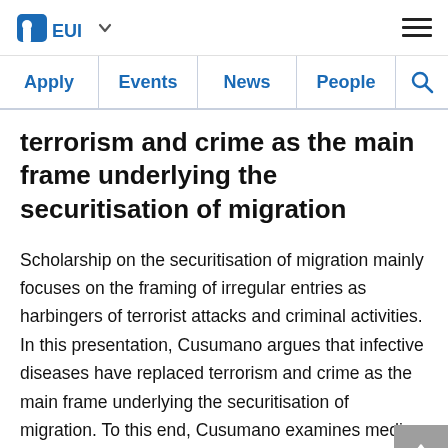EUI — Apply | Events | News | People | Search
terrorism and crime as the main frame underlying the securitisation of migration
Scholarship on the securitisation of migration mainly focuses on the framing of irregular entries as harbingers of terrorist attacks and criminal activities. In this presentation, Cusumano argues that infective diseases have replaced terrorism and crime as the main frame underlying the securitisation of migration. To this end, Cusumano examines media coverage of irregular